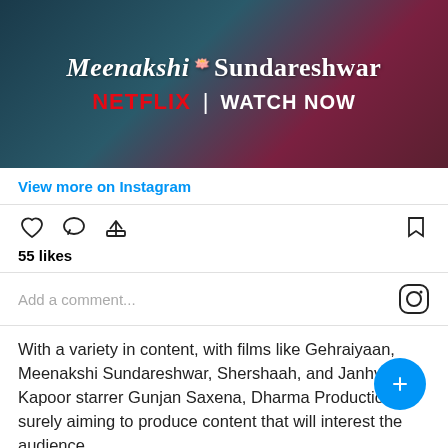[Figure (screenshot): Movie promotional banner for Meenakshi Sundareshwar on Netflix with text 'NETFLIX | WATCH NOW']
View more on Instagram
55 likes
Add a comment...
With a variety in content, with films like Gehraiyaan, Meenakshi Sundareshwar, Shershaah, and Janhvi Kapoor starrer Gunjan Saxena, Dharma Productions is surely aiming to produce content that will interest the audience.
janhvikapoor
18.3M followers
View profile